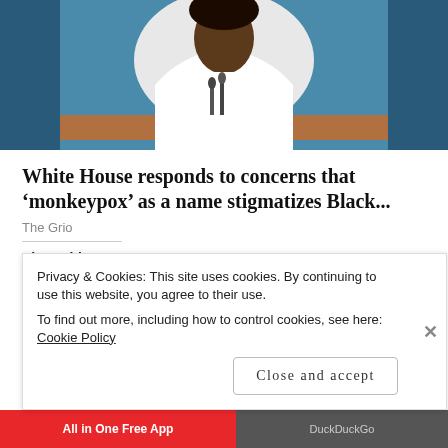[Figure (photo): Photo of a woman in white at a podium with microphones, blue background, press briefing room setting]
White House responds to concerns that ‘monkeypox’ as a name stigmatizes Black...
The Grio
Share this:
Twitter  Pinterest  Facebook  Tumblr  Reddit  Pocket  Telegram  LinkedIn  Skype  WhatsApp  Print  Email
Privacy & Cookies: This site uses cookies. By continuing to use this website, you agree to their use.
To find out more, including how to control cookies, see here: Cookie Policy
Close and accept